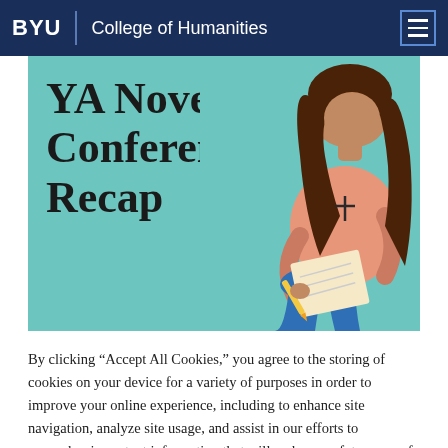BYU | College of Humanities
[Figure (illustration): Illustrated banner image with teal background showing 'YA Novelist Conference Recap' text on the left, and a cartoon illustration of a girl with long brown hair wearing a pink top and blue jeans, sitting and writing on a notepad, on the right.]
By clicking “Accept All Cookies,” you agree to the storing of cookies on your device for a variety of purposes in order to improve your online experience, including to enhance site navigation, analyze site usage, and assist in our efforts to remember important information that will make your future use of our sites more convenient.